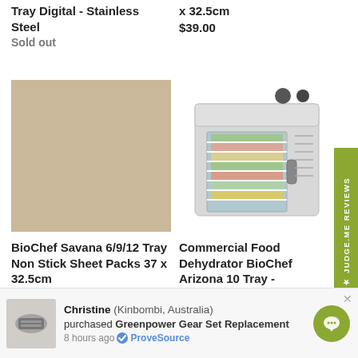Tray Digital - Stainless Steel
Sold out
x 32.5cm
$39.00
[Figure (photo): Tan/beige non-stick sheet product photo]
[Figure (photo): Commercial stainless steel food dehydrator with multiple trays visible through glass door]
BioChef Savana 6/9/12 Tray Non Stick Sheet Packs 37 x 32.5cm
$39.00
Commercial Food Dehydrator BioChef Arizona 10 Tray - Stainless Steel
$899.00
★ JUDGE.ME REVIEWS
Christine (Kinbombi, Australia) purchased Greenpower Gear Set Replacement
8 hours ago ✔ ProveSource